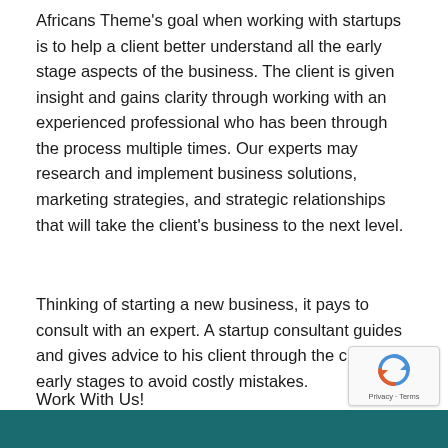Africans Theme's goal when working with startups is to help a client better understand all the early stage aspects of the business. The client is given insight and gains clarity through working with an experienced professional who has been through the process multiple times. Our experts may research and implement business solutions, marketing strategies, and strategic relationships that will take the client's business to the next level.
Thinking of starting a new business, it pays to consult with an expert. A startup consultant guides and gives advice to his client through the critical early stages to avoid costly mistakes.
Work With Us!
[Figure (other): reCAPTCHA badge with circular arrow icon and Privacy · Terms text]